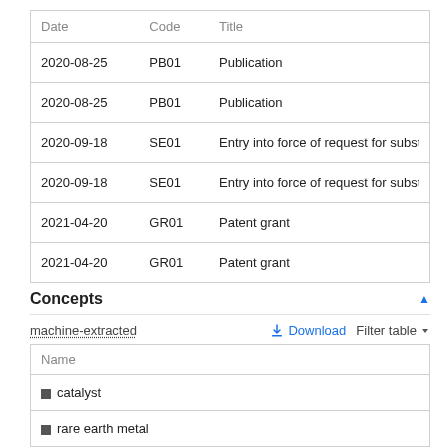| Date | Code | Title |
| --- | --- | --- |
| 2020-08-25 | PB01 | Publication |
| 2020-08-25 | PB01 | Publication |
| 2020-09-18 | SE01 | Entry into force of request for substantive exa |
| 2020-09-18 | SE01 | Entry into force of request for substantive exa |
| 2021-04-20 | GR01 | Patent grant |
| 2021-04-20 | GR01 | Patent grant |
Concepts
machine-extracted
| Name |
| --- |
| catalyst |
| rare earth metal |